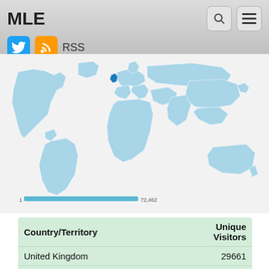MLE RSS
[Figure (map): World map showing unique visitor distribution by country, with UK highlighted in dark blue and other countries in light blue. Scale bar shows range from 1 to 72,462.]
| Country/Territory | Unique Visitors |
| --- | --- |
| United Kingdom | 29661 |
| China | 340 |
| United States | 201 |
| Germany | 160 |
| Hong Kong | 149 |